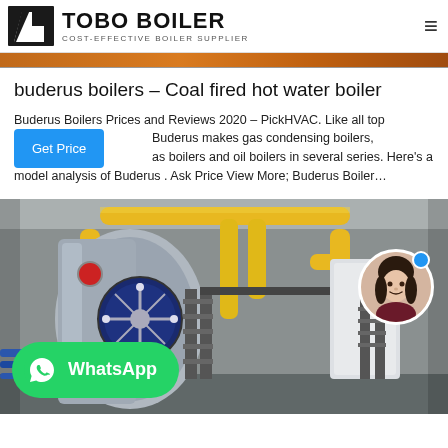TOBO BOILER — COST-EFFECTIVE BOILER SUPPLIER
[Figure (photo): Thin orange/warm-toned hero image strip at top of page]
buderus boilers – Coal fired hot water boiler
Buderus Boilers Prices and Reviews 2020 – PickHVAC. Like all top Buderus makes gas condensing boilers, as boilers and oil boilers in several series. Here's a model analysis of Buderus . Ask Price View More; Buderus Boiler…
[Figure (photo): Industrial boiler room with large blue/silver boiler tanks and yellow pipes, metal staircases. WhatsApp button overlay at bottom left. Person avatar circle at right.]